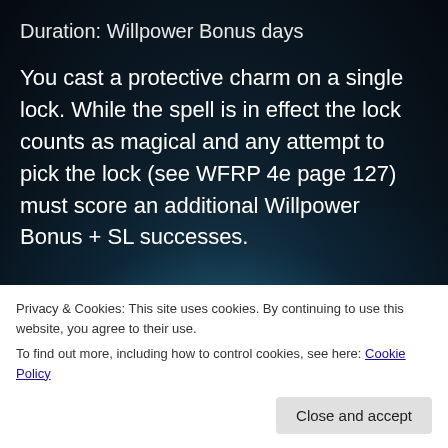Duration: Willpower Bonus days
You cast a protective charm on a single lock. While the spell is in effect the lock counts as magical and any attempt to pick the lock (see WFRP 4e page 127) must score an additional Willpower Bonus + SL successes.
Share this:
Privacy & Cookies: This site uses cookies. By continuing to use this website, you agree to their use.
To find out more, including how to control cookies, see here: Cookie Policy